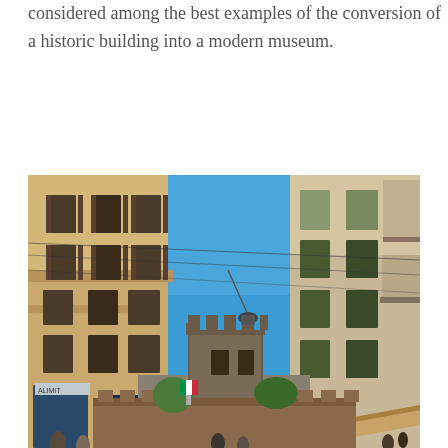considered among the best examples of the conversion of a historic building into a modern museum.
[Figure (photo): Street-level view of an Italian town (likely Verona) showing multi-storey ochre/cream buildings on both sides of a pedestrian street, with a bright blue sky above and a medieval castle tower with battlements visible at the end of the street. Power lines cross overhead and a hanging street lamp is visible.]